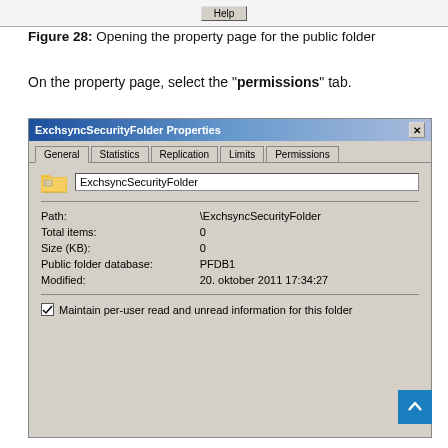Figure 28: Opening the property page for the public folder
On the property page, select the "permissions" tab.
[Figure (screenshot): Windows dialog box titled 'ExchsyncSecurityFolder Properties' showing the General tab with fields: Path: \ExchsyncSecurityFolder, Total items: 0, Size (KB): 0, Public folder database: PFDB1, Modified: 20. oktober 2011 17:34:27, and a checkbox for 'Maintain per-user read and unread information for this folder'. Tabs shown: General, Statistics, Replication, Limits, Permissions.]